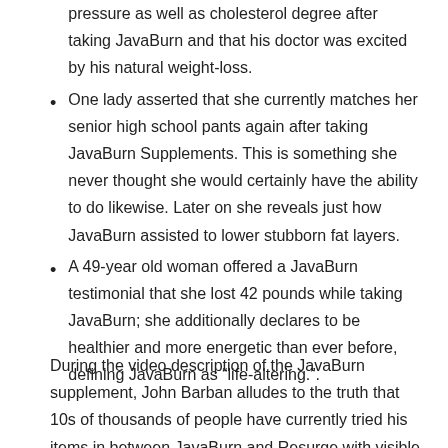pressure as well as cholesterol degree after taking JavaBurn and that his doctor was excited by his natural weight-loss.
One lady asserted that she currently matches her senior high school pants again after taking JavaBurn Supplements. This is something she never thought she would certainly have the ability to do likewise. Later on she reveals just how JavaBurn assisted to lower stubborn fat layers.
A 49-year old woman offered a JavaBurn testimonial that she lost 42 pounds while taking JavaBurn; she additionally declares to be healthier and more energetic than ever before, defining JavaBurn as “life-altering.”.
During the video description of the JavaBurn supplement, John Barban alludes to the truth that 10s of thousands of people have currently tried his items in between JavaBurn and Resurge with visible support in the areas of shedding fat, dropping weight, even more energy and also overall health and wellness. But what does